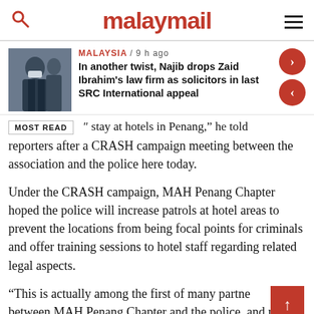malaymail
[Figure (photo): Thumbnail photo of a man in a suit wearing a face mask, waving]
MALAYSIA / 9 h ago
In another twist, Najib drops Zaid Ibrahim's law firm as solicitors in last SRC International appeal
MOST READ
stay at hotels in Penang," he told reporters after a CRASH campaign meeting between the association and the police here today.
Under the CRASH campaign, MAH Penang Chapter hoped the police will increase patrols at hotel areas to prevent the locations from being focal points for criminals and offer training sessions to hotel staff regarding related legal aspects.
“This is actually among the first of many partnerships between MAH Penang Chapter and the police, and many more initiatives will be implemented to create a safe hotel environment in the state,” he said.